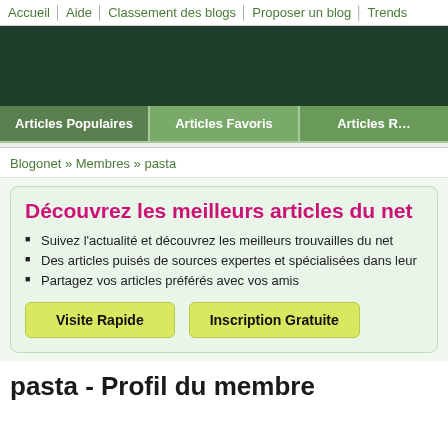Accueil | Aide | Classement des blogs | Proposer un blog | Trends
[Figure (other): Dark green banner/advertisement area]
Articles Populaires | Articles Favoris | Articles R…
Blogonet » Membres » pasta
Découvrez les meilleurs articles du net
Suivez l'actualité et découvrez les meilleurs trouvailles du net
Des articles puisés de sources expertes et spécialisées dans leur
Partagez vos articles préférés avec vos amis
Visite Rapide | Inscription Gratuite
pasta - Profil du membre